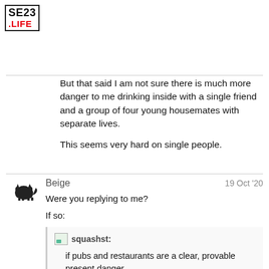[Figure (logo): SE23 .LIFE logo in a bordered box]
But that said I am not sure there is much more danger to me drinking inside with a single friend and a group of four young housemates with separate lives.

This seems very hard on single people.
Beige
19 Oct '20

Were you replying to me?

If so:

squashst:

if pubs and restaurants are a clear, provable present danger